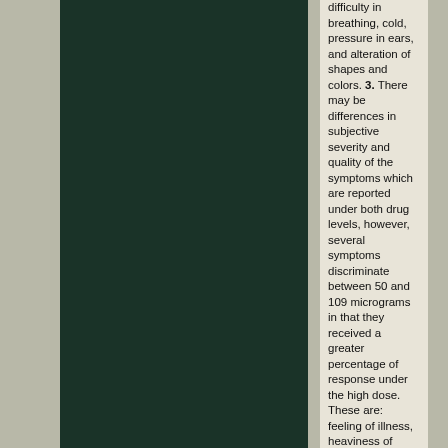[Figure (photo): Dark green/black rectangular image occupying the left two-thirds of the page]
difficulty in breathing, cold, pressure in ears, and alteration of shapes and colors. 3. There may be differences in subjective severity and quality of the symptoms which are reported under both drug levels, however, several symptoms discriminate between 50 and 109 micrograms in that they received a greater percentage of response under the high dose. These are: feeling of illness, heaviness of limbs, nausea, funny taste in mouth, objects